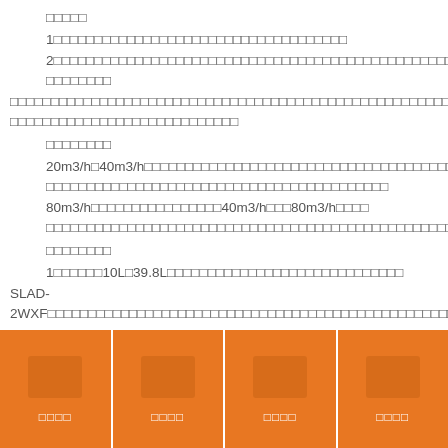□□□□□
1□□□□□□□□□□□□□□□□□□□□□□□□□□□□□□□□□□□
2□□□□□□□□□□□□□□□□□□□□□□□□□□□□□□□□□□□□□□□□□□□□□□□□□□□□□□□□□□□□□□□□□□□□
□□□□□□□□□□□□□□□□□□□□□□□□□□□□□□□□□□□□□□□□□□□□□□□□□□□□□□□□□□□□□□□□□□□□□□□□□□□□□□□□□□□□□□□□□□□□□□□□□□□□□□□□□□□□□□□□□□□□□□□□□□□□□□□□□□□□□□□□□□□□□□□□□□□□□□□□□□□□□□□□□□□□□□□□
□□□□□□□□
20m3/h□40m3/h□□□□□□□□□□□□□□□□□□□□□□□□□□□□□□□□□□□□□□□□□□□□□□□□□□□□□□□□□□□□□□□□□□□□□□□□□
80m3/h□□□□□□□□□□□□□□□40m3/h□□□80m3/h□□□□□□□□□□□□□□□□□□□□□□□□□□□□□□□□□□□□□□□□□□□□□□□□□□
□□□□□□□□
1□□□□□□10L□39.8L□□□□□□□□□□□□□□□□□□□□□□□□□□□□□
SLAD-2WXF□□□□□□□□□□□□□□□□□□□□□□□□□□□□□□□□□□□□□□□□□□□□□□□□□□□□□□□□□□□□□□□□□□□□□
[Figure (infographic): Orange footer bar with 4 columns, each containing a darker orange icon rectangle and white CJK label text below]